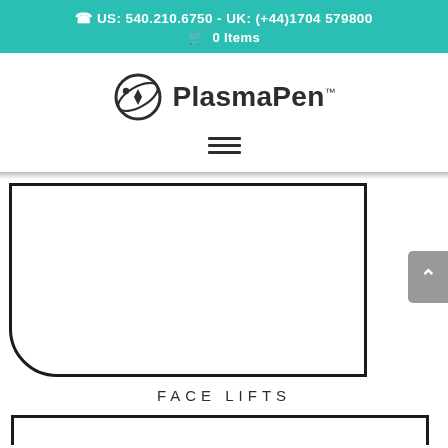US: 540.210.6750 - UK: (+44)1704 579800  0 Items
[Figure (logo): PlasmaPen logo with circular orbit icon and brand name with TM mark]
[Figure (other): Hamburger menu icon with three horizontal lines]
[Figure (other): Large bordered white image box with rounded bottom-left corner, partially visible, representing a face lift treatment image placeholder]
FACE LIFTS
[Figure (other): Bottom image box border, partially cut off at bottom of page]